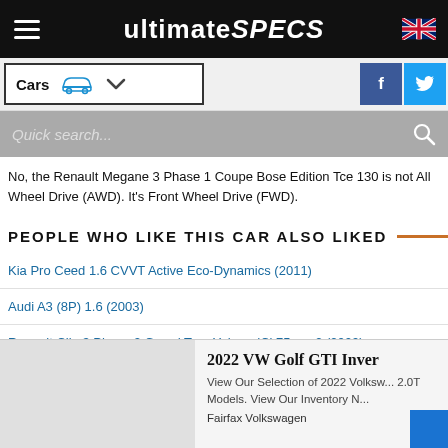ultimateSPECS
No, the Renault Megane 3 Phase 1 Coupe Bose Edition Tce 130 is not All Wheel Drive (AWD). It's Front Wheel Drive (FWD).
PEOPLE WHO LIKE THIS CAR ALSO LIKED
Kia Pro Ceed 1.6 CVVT Active Eco-Dynamics (2011)
Audi A3 (8P) 1.6 (2003)
Renault Clio 3 Phase 2 Grand Tour Yahoo dCi 75 eco2 (2009)
[Figure (screenshot): Advertisement for 2022 VW Golf GTI Inventory at Fairfax Volkswagen]